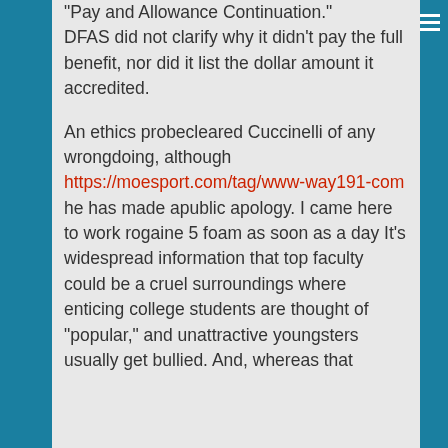"Pay and Allowance Continuation." DFAS did not clarify why it didn't pay the full benefit, nor did it list the dollar amount it accredited.
An ethics probecleared Cuccinelli of any wrongdoing, although https://moesport.com/tag/www-way191-com he has made apublic apology. I came here to work rogaine 5 foam as soon as a day It's widespread information that top faculty could be a cruel surroundings where enticing college students are thought of "popular," and unattractive youngsters usually get bullied. And, whereas that